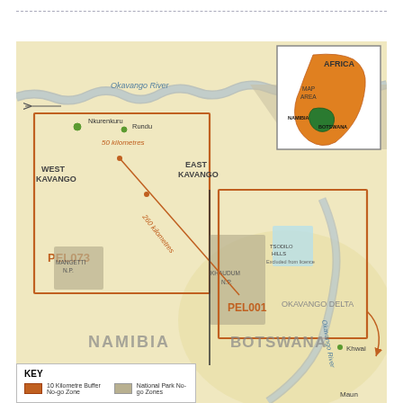[Figure (map): Map showing petroleum exploration licences PEL073 (Namibia, West and East Kavango region) and PEL001 (Botswana), with the Okavango River corridor, national parks (Bwabwata N.P., Khaudum N.P., Mangetti N.P.), Tsodilo Hills exclusion area, and distance annotations (50 kilometres, 260 kilometres) from reference points Nkurenkuru and Rundu. An inset map shows Africa with Namibia and Botswana highlighted. The Okavango Delta, Okavango River, and Khwai and Maun towns in Botswana are labeled. A KEY box at the bottom identifies 10 Kilometre Buffer No-go Zone, National Park No-go Zones, and other features.]